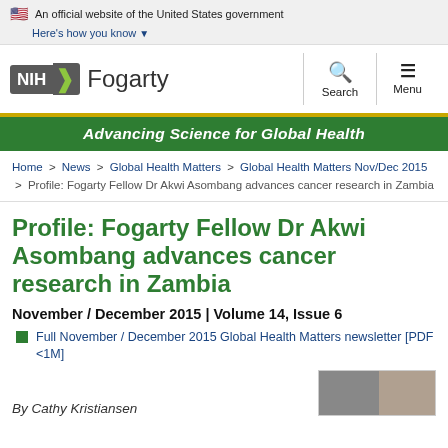An official website of the United States government
Here's how you know
[Figure (logo): NIH Fogarty International Center logo with search and menu navigation buttons]
Advancing Science for Global Health
Home > News > Global Health Matters > Global Health Matters Nov/Dec 2015 > Profile: Fogarty Fellow Dr Akwi Asombang advances cancer research in Zambia
Profile: Fogarty Fellow Dr Akwi Asombang advances cancer research in Zambia
November / December 2015 | Volume 14, Issue 6
Full November / December 2015 Global Health Matters newsletter [PDF <1M]
By Cathy Kristiansen
[Figure (photo): Partial photo visible at bottom right of the page]